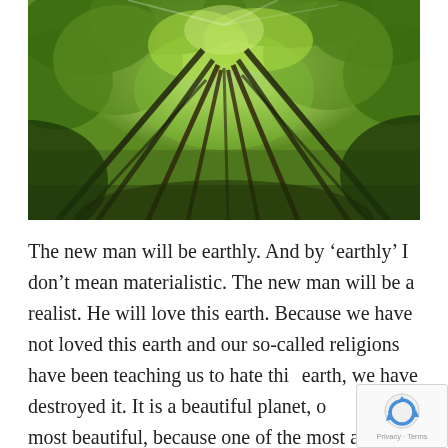[Figure (photo): Upward view into a dense green forest canopy with tall trees and sunlight filtering through the leaves.]
The new man will be earthly. And by ‘earthly’ I don’t mean materialistic. The new man will be a realist. He will love this earth. Because we have not loved this earth and our so-called religions have been teaching us to hate this earth, we have destroyed it. It is a beautiful planet, one of the most beautiful, because one of the most alive. This